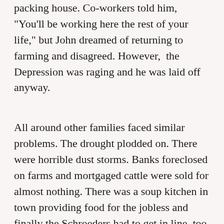packing house. Co-workers told him, "You'll be working here the rest of your life," but John dreamed of returning to farming and disagreed. However, the Depression was raging and he was laid off anyway.
All around other families faced similar problems. The drought plodded on. There were horrible dust storms. Banks foreclosed on farms and mortgaged cattle were sold for almost nothing. There was a soup kitchen in town providing food for the jobless and finally the Schroeders had to get in line, too.
Somehow, John got to talking to a man from the Great Northern Railroad Agency. "Why don't you move to northern Minnesota? You can live cheaper there and raise good gardens," he told them. He showed them some beautiful vegetables raised there. After some investigation, they decided to move. The bank required a down payment for a farm in a good location. Where would that come